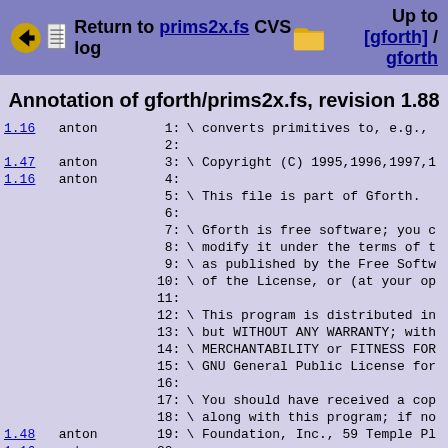Return to prims2x.fs CVS log   Up to [gforth] / gforth
Annotation of gforth/prims2x.fs, revision 1.88
| rev | author | line | code |
| --- | --- | --- | --- |
| 1.16 | anton | 1: | \ converts primitives to, e.g., |
|  |  | 2: |  |
| 1.47 | anton | 3: | \ Copyright (C) 1995,1996,1997,1 |
| 1.16 | anton | 4: |  |
|  |  | 5: | \ This file is part of Gforth. |
|  |  | 6: |  |
|  |  | 7: | \ Gforth is free software; you c |
|  |  | 8: | \ modify it under the terms of t |
|  |  | 9: | \ as published by the Free Softw |
|  |  | 10: | \ of the License, or (at your op |
|  |  | 11: |  |
|  |  | 12: | \ This program is distributed in |
|  |  | 13: | \ but WITHOUT ANY WARRANTY; with |
|  |  | 14: | \ MERCHANTABILITY or FITNESS FOR |
|  |  | 15: | \ GNU General Public License for |
|  |  | 16: |  |
|  |  | 17: | \ You should have received a cop |
|  |  | 18: | \ along with this program; if no |
| 1.48 | anton | 19: | \ Foundation, Inc., 59 Temple Pl |
| 1.16 | anton | 20: |  |
|  |  | 21: |  |
| 1.71 | anton | 22: | \ This is not very nice (hard |